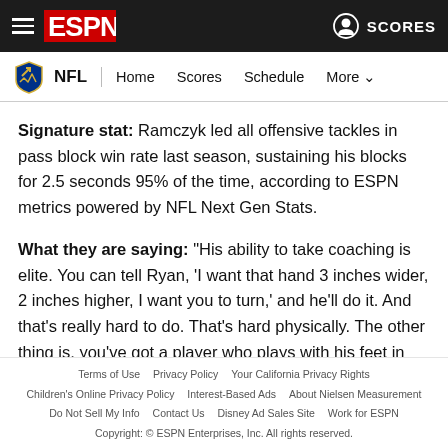ESPN NFL Navigation Header
Signature stat: Ramczyk led all offensive tackles in pass block win rate last season, sustaining his blocks for 2.5 seconds 95% of the time, according to ESPN metrics powered by NFL Next Gen Stats.
What they are saying: "His ability to take coaching is elite. You can tell Ryan, 'I want that hand 3 inches wider, 2 inches higher, I want you to turn,' and he'll do it. And that's really hard to do. That's hard physically. The other thing is, you've got a player who plays with his feet in the ground, with lower power
Terms of Use  Privacy Policy  Your California Privacy Rights  Children's Online Privacy Policy  Interest-Based Ads  About Nielsen Measurement  Do Not Sell My Info  Contact Us  Disney Ad Sales Site  Work for ESPN  Copyright: © ESPN Enterprises, Inc. All rights reserved.